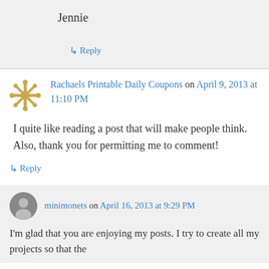Jennie
↳ Reply
Rachaels Printable Daily Coupons on April 9, 2013 at 11:10 PM
I quite like reading a post that will make people think. Also, thank you for permitting me to comment!
↳ Reply
minimonets on April 16, 2013 at 9:29 PM
I'm glad that you are enjoying my posts. I try to create all my projects so that the